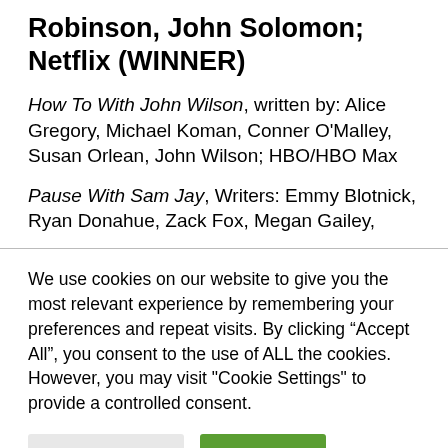Robinson, John Solomon; Netflix (WINNER)
How To With John Wilson, written by: Alice Gregory, Michael Koman, Conner O'Malley, Susan Orlean, John Wilson; HBO/HBO Max
Pause With Sam Jay, Writers: Emmy Blotnick, Ryan Donahue, Zack Fox, Megan Gailey,
We use cookies on our website to give you the most relevant experience by remembering your preferences and repeat visits. By clicking “Accept All”, you consent to the use of ALL the cookies. However, you may visit "Cookie Settings" to provide a controlled consent.